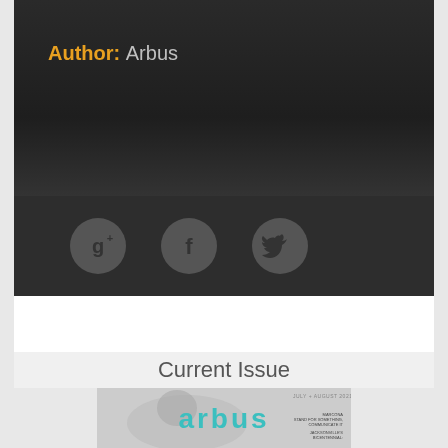Author: Arbus
[Figure (illustration): Social media icons: Google+, Facebook, Twitter on dark background]
Current Issue
[Figure (photo): Arbus magazine cover, July + August 2021, with teal 'arbus' logo text and sculpture image, sidebar text mentioning MARCONA STAND FOR SOMETHING, COMMUNICATE IT and JACKSONVILLE'S BICENTENNIAL]